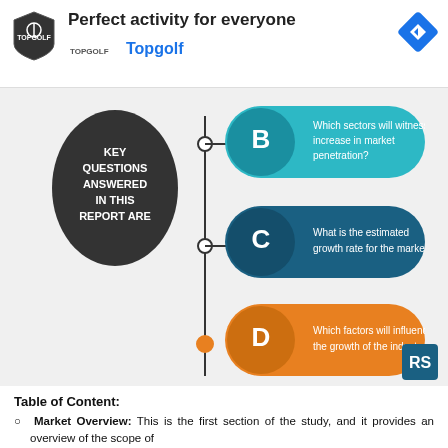[Figure (infographic): Ad banner for Topgolf: shield logo, 'Perfect activity for everyone' headline, Topgolf logo and name in blue, navigation arrow icon top right. Below: infographic showing 'KEY QUESTIONS ANSWERED IN THIS REPORT ARE' in dark oval, with items B (Which sectors will witness on increase in market penetration? - teal), C (What is the estimated growth rate for the market? - dark blue), D (Which factors will influence the growth of the industry? - orange) connected by vertical line with circles.]
Table of Content:
Market Overview: This is the first section of the study, and it provides an overview of the scope of